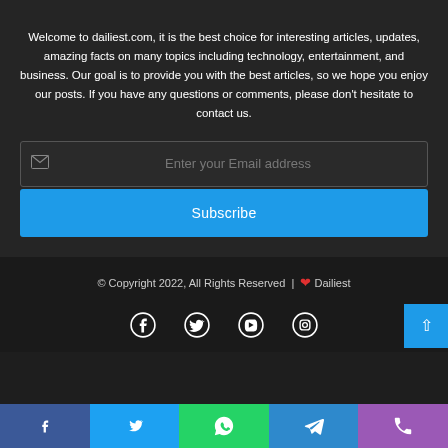Welcome to dailiest.com, it is the best choice for interesting articles, updates, amazing facts on many topics including technology, entertainment, and business. Our goal is to provide you with the best articles, so we hope you enjoy our posts. If you have any questions or comments, please don't hesitate to contact us.
[Figure (infographic): Email subscription input field with envelope icon and placeholder text 'Enter your Email address', followed by a blue 'Subscribe' button]
© Copyright 2022, All Rights Reserved | ❤ Dailiest
[Figure (infographic): Social media icons row: Facebook, Twitter, YouTube, Instagram, with blue scroll-to-top button on the right]
[Figure (infographic): Bottom bar with five social share buttons: Facebook (blue), Twitter (light blue), WhatsApp (green), Telegram (blue), Phone (purple)]